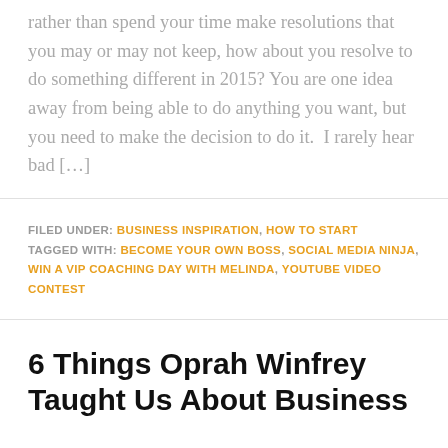rather than spend your time make resolutions that you may or may not keep, how about you resolve to do something different in 2015? You are one idea away from being able to do anything you want, but you need to make the decision to do it.  I rarely hear bad […]
FILED UNDER: BUSINESS INSPIRATION, HOW TO START TAGGED WITH: BECOME YOUR OWN BOSS, SOCIAL MEDIA NINJA, WIN A VIP COACHING DAY WITH MELINDA, YOUTUBE VIDEO CONTEST
6 Things Oprah Winfrey Taught Us About Business